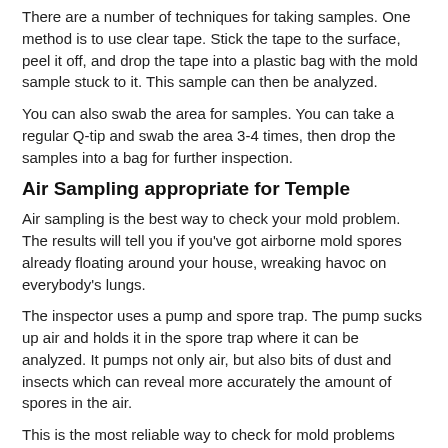There are a number of techniques for taking samples. One method is to use clear tape. Stick the tape to the surface, peel it off, and drop the tape into a plastic bag with the mold sample stuck to it. This sample can then be analyzed.
You can also swab the area for samples. You can take a regular Q-tip and swab the area 3-4 times, then drop the samples into a bag for further inspection.
Air Sampling appropriate for Temple
Air sampling is the best way to check your mold problem. The results will tell you if you've got airborne mold spores already floating around your house, wreaking havoc on everybody's lungs.
The inspector uses a pump and spore trap. The pump sucks up air and holds it in the spore trap where it can be analyzed. It pumps not only air, but also bits of dust and insects which can reveal more accurately the amount of spores in the air.
This is the most reliable way to check for mold problems because it looks for the spores themselves. The inspector takes samples from various parts of the house, as well as inside walls and under floors. Often, mold infestations aren't visible to the naked eye.